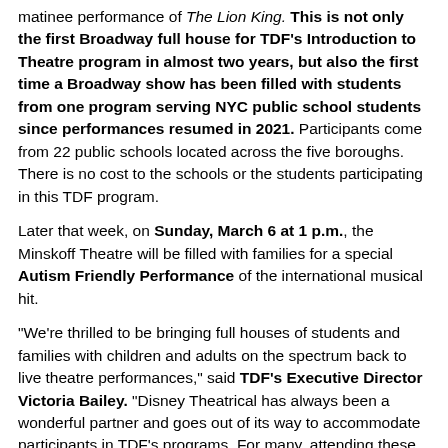matinee performance of The Lion King. This is not only the first Broadway full house for TDF's Introduction to Theatre program in almost two years, but also the first time a Broadway show has been filled with students from one program serving NYC public school students since performances resumed in 2021. Participants come from 22 public schools located across the five boroughs. There is no cost to the schools or the students participating in this TDF program.
Later that week, on Sunday, March 6 at 1 p.m., the Minskoff Theatre will be filled with families for a special Autism Friendly Performance of the international musical hit.
"We're thrilled to be bringing full houses of students and families with children and adults on the spectrum back to live theatre performances," said TDF's Executive Director Victoria Bailey. "Disney Theatrical has always been a wonderful partner and goes out of its way to accommodate participants in TDF's programs. For many, attending these performances is life changing."
TDF INTRODUCTION TO THEATRE is a project-based arts education program that includes attending a Broadway or Off Broadway show.